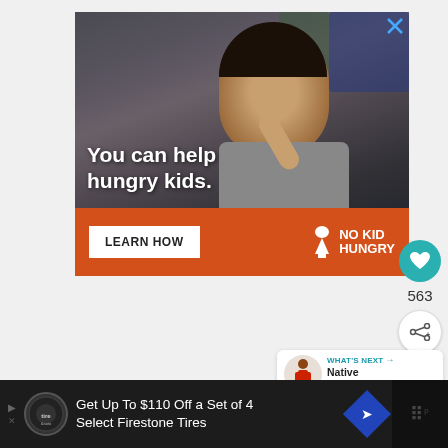[Figure (photo): Advertisement banner showing a child eating, with text 'You can help hungry kids.' and an orange bar below with 'LEARN HOW' button and 'NO KID HUNGRY' logo]
563
WHAT'S NEXT → Native American...
Get Up To $110 Off a Set of 4 Select Firestone Tires